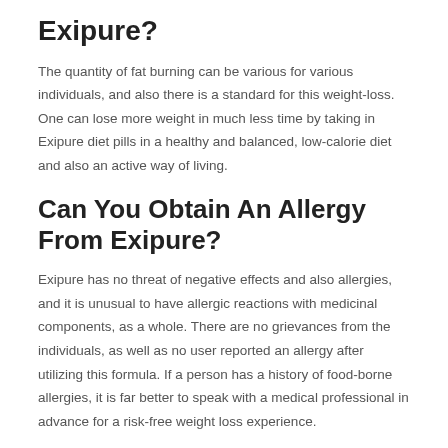Exipure?
The quantity of fat burning can be various for various individuals, and also there is a standard for this weight-loss. One can lose more weight in much less time by taking in Exipure diet pills in a healthy and balanced, low-calorie diet and also an active way of living.
Can You Obtain An Allergy From Exipure?
Exipure has no threat of negative effects and also allergies, and it is unusual to have allergic reactions with medicinal components, as a whole. There are no grievances from the individuals, as well as no user reported an allergy after utilizing this formula. If a person has a history of food-borne allergies, it is far better to speak with a medical professional in advance for a risk-free weight loss experience.